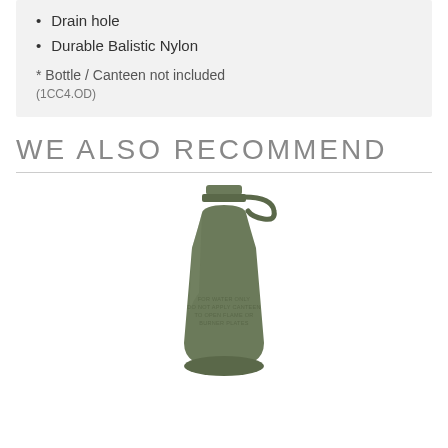Drain hole
Durable Balistic Nylon
* Bottle / Canteen not included
(1CC4.OD)
WE ALSO RECOMMEND
[Figure (photo): Olive drab military canteen bottle with screw cap and tethered lid, featuring embossed text on the body]